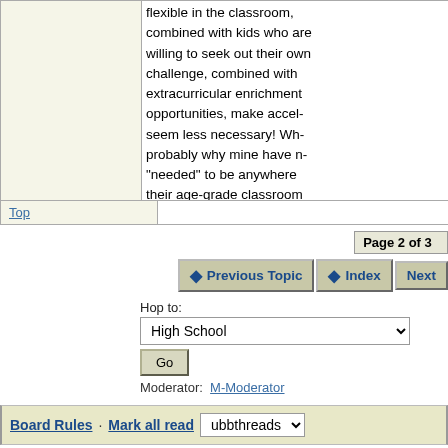flexible in the classroom, combined with kids who are willing to seek out their own challenge, combined with extracurricular enrichment opportunities, make acceleration seem less necessary! Which is probably why mine have never "needed" to be anywhere but their age-grade classrooms now.
Top
Page 2 of 3
Previous Topic  Index  Next
Hop to:
High School
Go
Moderator:  M-Moderator
Board Rules · Mark all read  ubbthreads
Generated in 2.050 seconds in which 0.006 seconds were spent on a total of 15 queries. Zlib compression enabled. Powered by UBB.threads™ 7.5.6